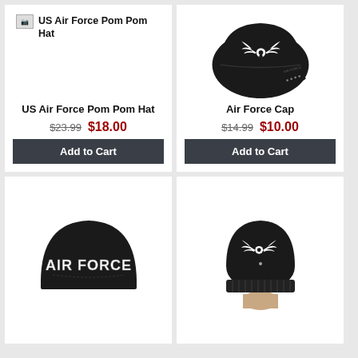[Figure (photo): Product listing card: US Air Force Pom Pom Hat with broken image placeholder, price $23.99 crossed out, sale price $18.00, Add to Cart button]
[Figure (photo): Product listing card: Air Force Cap showing black baseball cap with white Air Force wings logo, price $14.99 crossed out, sale price $10.00, Add to Cart button]
[Figure (photo): Product listing card: partially visible black cap with AIR FORCE text on back]
[Figure (photo): Product listing card: partially visible black beanie hat with Air Force wings logo]